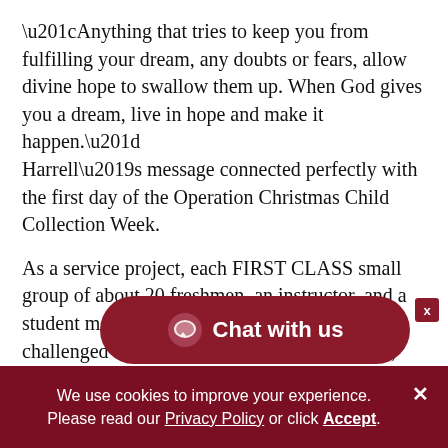“Anything that tries to keep you from fulfilling your dream, any doubts or fears, allow divine hope to swallow them up. When God gives you a dream, live in hope and make it happen.” Harrell’s message connected perfectly with the first day of the Operation Christmas Child Collection Week.
As a service project, each FIRST CLASS small group of about 20 freshmen, an instructor, and a student mentor filled OCC boxes. They were challenged to fill as many boxes as they could, and Monday, Nov. 16, was the first day to bring t[hem in].
The hundreds of boxes se[t the stage and creat]ed a fitting backdrop for Harrell’s word on hope.
[Figure (other): Chat with us button overlay — dark red rounded pill-shaped button with chat bubble icon and text 'Chat with us', with an X close button]
We use cookies to improve your experience. Please read our Privacy Policy or click Accept.